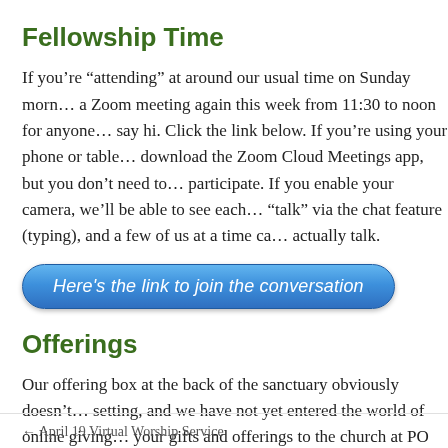Fellowship Time
If you’re “attending” at around our usual time on Sunday morning, we’re hosting a Zoom meeting again this week from 11:30 to noon for anyone who wants to drop in and say hi. Click the link below. If you’re using your phone or tablet, you may need to download the Zoom Cloud Meetings app, but you don’t need to create an account to participate. If you enable your camera, we’ll be able to see each other; we can also “talk” via the chat feature (typing), and a few of us at a time can unmute ourselves and actually talk.
[Figure (other): Blue rounded rectangle button with text: Here’s the link to join the conversation]
Offerings
Our offering box at the back of the sanctuary obviously doesn’t work in a virtual setting, and we have not yet entered the world of online giving. You may mail your gifts and offerings to the church at PO Box 566, South Sutton…
← April 19 Virtual Worship Service